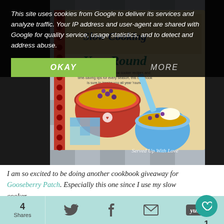[Figure (photo): Photo of a cookbook titled 'Slow Cooking Year Round' by Gooseberry Patch, showing illustrated cover with a slow cooker bowl, blueberry cobbler, and gingham background. Watermark reads 'Served Up With Love'.]
This site uses cookies from Google to deliver its services and analyze traffic. Your IP address and user-agent are shared with Google for quality service, usage statistics, and to detect and address abuse.
OKAY
MORE
1
I am so excited to be doing another cookbook giveaway for Gooseberry Patch. Especially this one since I use my slow cooker
4
Shares